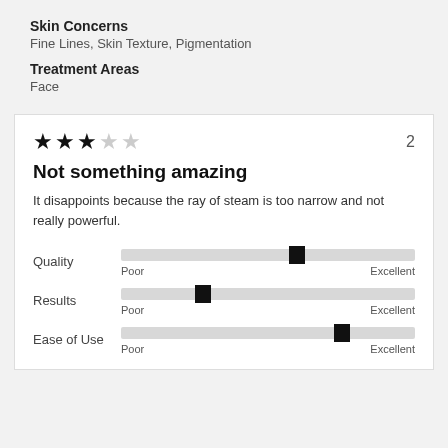Skin Concerns
Fine Lines, Skin Texture, Pigmentation
Treatment Areas
Face
[Figure (other): 3 out of 5 stars rating with count 2]
Not something amazing
It disappoints because the ray of steam is too narrow and not really powerful.
Quality slider: Poor to Excellent, thumb at ~60%
Results slider: Poor to Excellent, thumb at ~30%
Ease of Use slider: Poor to Excellent, thumb at ~75%